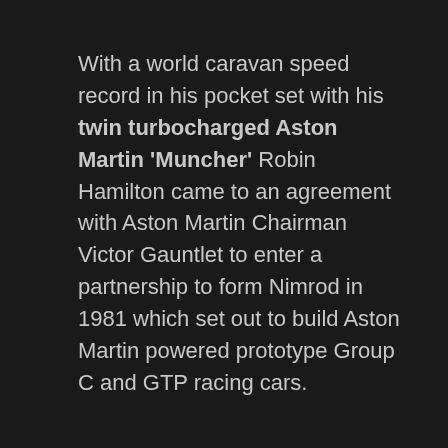With a world caravan speed record in his pocket set with his twin turbocharged Aston Martin 'Muncher' Robin Hamilton came to an agreement with Aston Martin Chairman Victor Gauntlet to enter a partnership to form Nimrod in 1981 which set out to build Aston Martin powered prototype Group C and GTP racing cars.